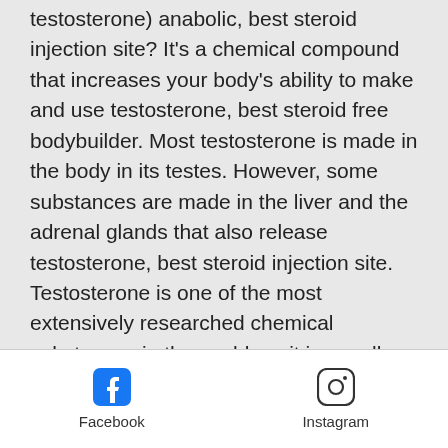testosterone) anabolic, best steroid injection site? It's a chemical compound that increases your body's ability to make and use testosterone, best steroid free bodybuilder. Most testosterone is made in the body in its testes. However, some substances are made in the liver and the adrenal glands that also release testosterone, best steroid injection site. Testosterone is one of the most extensively researched chemical substances in the world, so it is usually considered the best. It has a number of health benefits because you create more testosterone by eating more protein. You build muscle in about 4 weeks, best steroid cycle for muscle gain! The body burns more fat by converting the excess calories to usable energy, and some of this
Facebook  Instagram